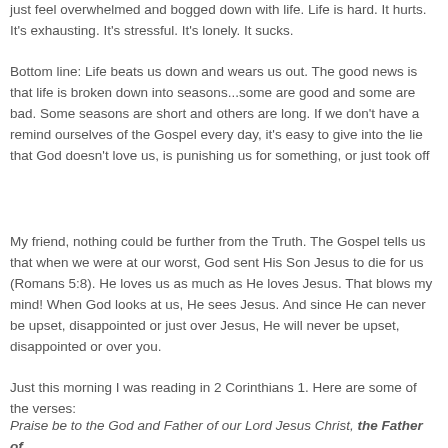just feel overwhelmed and bogged down with life. Life is hard. It hurts. It's exhausting. It's stressful. It's lonely. It sucks.
Bottom line: Life beats us down and wears us out. The good news is that life is broken down into seasons...some are good and some are bad. Some seasons are short and others are long. If we don't have a remind ourselves of the Gospel every day, it's easy to give into the lie that God doesn't love us, is punishing us for something, or just took off
My friend, nothing could be further from the Truth. The Gospel tells us that when we were at our worst, God sent His Son Jesus to die for us (Romans 5:8). He loves us as much as He loves Jesus. That blows my mind! When God looks at us, He sees Jesus. And since He can never be upset, disappointed or just over Jesus, He will never be upset, disappointed or over you.
Just this morning I was reading in 2 Corinthians 1. Here are some of the verses:
Praise be to the God and Father of our Lord Jesus Christ, the Father of